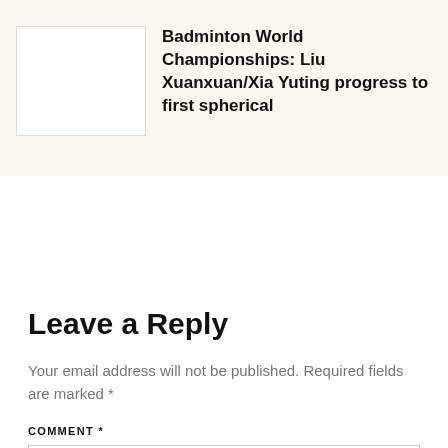[Figure (other): White thumbnail image placeholder]
Badminton World Championships: Liu Xuanxuan/Xia Yuting progress to first spherical
Leave a Reply
Your email address will not be published. Required fields are marked *
COMMENT *